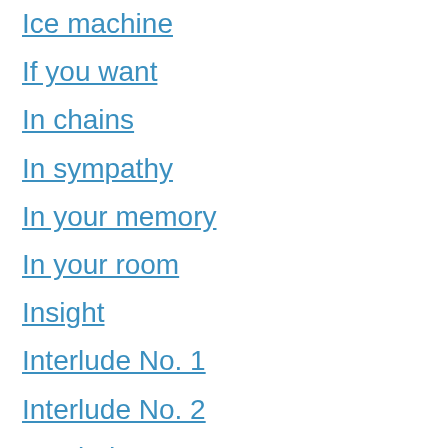Ice machine
If you want
In chains
In sympathy
In your memory
In your room
Insight
Interlude No. 1
Interlude No. 2
Interlude No. 3
Interlude No. 4
Introspectre
It doesn't matter
It doesn't matter Two